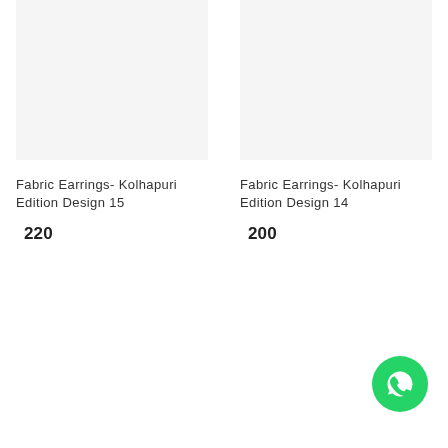[Figure (photo): Product image placeholder for Fabric Earrings Kolhapuri Edition Design 15]
Fabric Earrings- Kolhapuri Edition Design 15
220
[Figure (photo): Product image placeholder for Fabric Earrings Kolhapuri Edition Design 14]
Fabric Earrings- Kolhapuri Edition Design 14
200
[Figure (logo): WhatsApp chat button icon, green circle with white phone/chat icon]